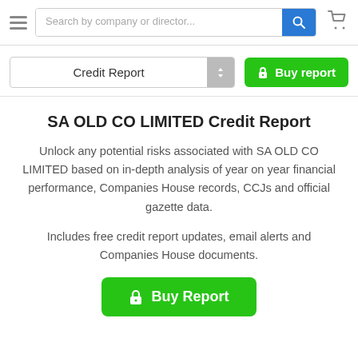[Figure (screenshot): Navigation bar with hamburger menu, search box with placeholder 'Search by company or director...', blue search button, and cart icon]
[Figure (screenshot): Controls row with 'Credit Report' dropdown selector and green 'Buy report' button with lock icon]
SA OLD CO LIMITED Credit Report
Unlock any potential risks associated with SA OLD CO LIMITED based on in-depth analysis of year on year financial performance, Companies House records, CCJs and official gazette data.
Includes free credit report updates, email alerts and Companies House documents.
[Figure (screenshot): Green 'Buy Report' button with lock icon]